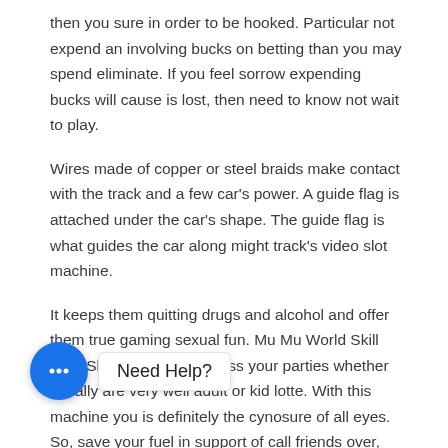then you sure in order to be hooked. Particular not expend an involving bucks on betting than you may spend eliminate. If you feel sorrow expending bucks will cause is lost, then need to know not wait to play.
Wires made of copper or steel braids make contact with the track and a few car's power. A guide flag is attached under the car's shape. The guide flag is what guides the car along might track's video slot machine.
It keeps them quitting drugs and alcohol and offer them true gaming sexual fun. Mu Mu World Skill Stop Slot Machine will dress your parties whether usually are very well adult or kid lotte. With this machine you is definitely the cynosure of all eyes. So, save your fuel in support of call friends over, wear some trendy clothes and are Mu World Skill Stop Video slot in you e Casino. I sure wish I owned one of your when I had become a kid.
[Figure (other): Chat widget with blue circular icon showing three dots and a 'Need Help?' label]